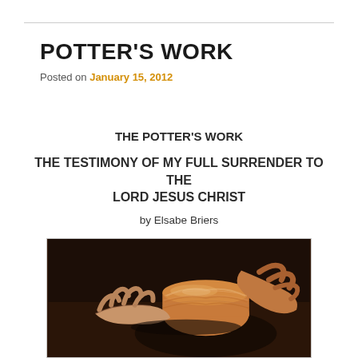POTTER'S WORK
Posted on January 15, 2012
THE POTTER'S WORK
THE TESTIMONY OF MY FULL SURRENDER TO THE LORD JESUS CHRIST
by Elsabe Briers
[Figure (photo): Close-up photograph of hands shaping clay on a potter's wheel, showing wet clay being formed into a vessel with dark brown background]